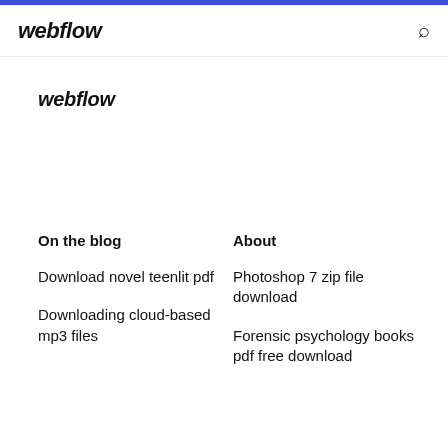webflow
webflow
On the blog
About
Download novel teenlit pdf
Photoshop 7 zip file download
Downloading cloud-based mp3 files
Forensic psychology books pdf free download